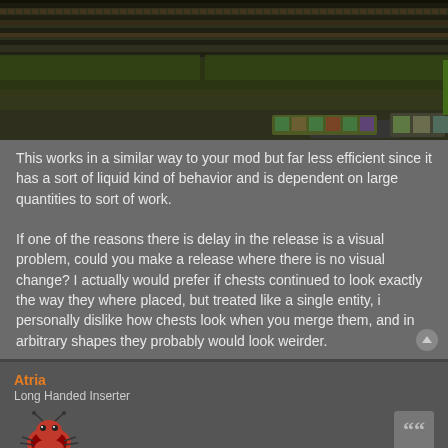[Figure (screenshot): Game screenshot showing a top-down view of a factory/base with conveyor belts, resources, and machinery in dark tones with green and brown elements.]
This works in a similar way to your mod but far less efficient since it has a sort of liquid kind of behavior and is dependent on large quantities to sort of work.

If one of the reasons there is delay in the release is a visual problem, could you make a release where there is no visual change? I actually would prefer if chests continued to look exactly the way they where placed, but treated like a single entity, i personally dislike how chests look when you merge them, and in arbitrary shapes they probably would look weirder.
Atria
Long Handed Inserter
[Figure (illustration): Small cartoon avatar of a red and black bug/insect character.]
Re: [Request] Chest, Warehouse and Trash dump sprites
Mon Aug 20, 2018 4:11 am